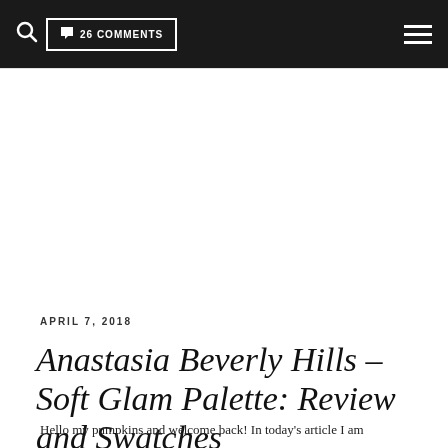26 COMMENTS
APRIL 7, 2018
Anastasia Beverly Hills – Soft Glam Palette: Review and Swatches
Hello my pumpkins and welcome back! In today's article I am